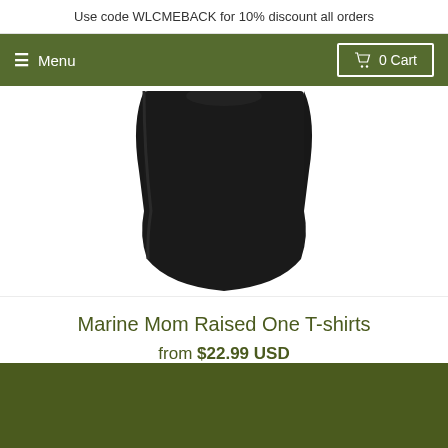Use code WLCMEBACK for 10% discount all orders
≡ Menu   🛒 0 Cart
[Figure (photo): Black t-shirt product photo showing bottom half of a black t-shirt on a white background]
Marine Mom Raised One T-shirts
from $22.99 USD